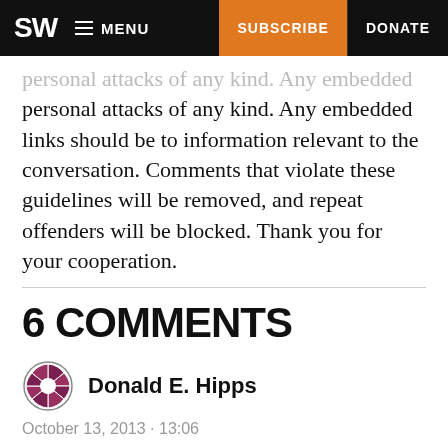SW  MENU  SUBSCRIBE  DONATE
personal attacks of any kind. Any embedded links should be to information relevant to the conversation. Comments that violate these guidelines will be removed, and repeat offenders will be blocked. Thank you for your cooperation.
6 COMMENTS
Donald E. Hipps
October 13, 2013 · 13:06